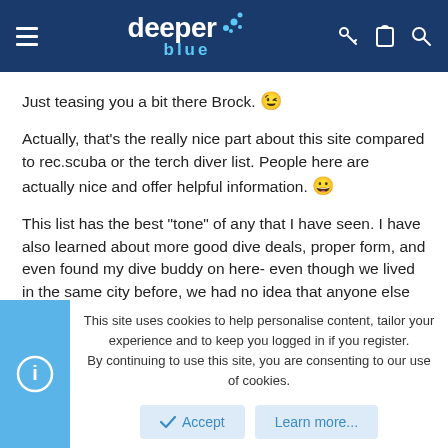deeper blue — navigation header
Just teasing you a bit there Brock. 😉
Actually, that's the really nice part about this site compared to rec.scuba or the terch diver list. People here are actually nice and offer helpful information. 😀
This list has the best "tone" of any that I have seen. I have also learned about more good dive deals, proper form, and even found my dive buddy on here- even though we lived in the same city before, we had no idea that anyone else around was into freediving.
DEEPER BLUE Rocks!!
This site uses cookies to help personalise content, tailor your experience and to keep you logged in if you register.
By continuing to use this site, you are consenting to our use of cookies.